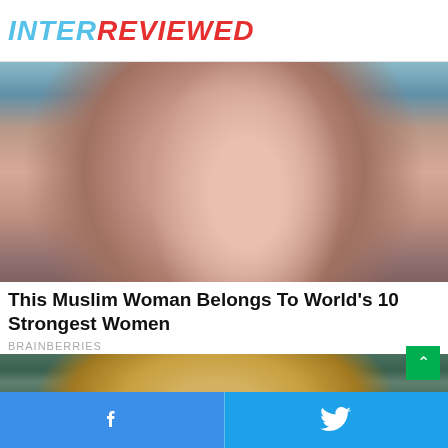INTERREVIEWED
[Figure (photo): A woman wearing a pink hijab, photographed from shoulders up, blurred indoor background with blue and green tones]
This Muslim Woman Belongs To World's 10 Strongest Women
BRAINBERRIES
[Figure (photo): Close-up of a round yellowish object being held against a dark teal fabric background]
Facebook share | Twitter share